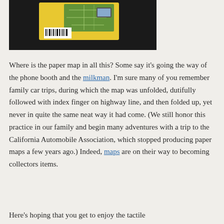[Figure (photo): Partial photo showing product packaging including maps/GPS device with barcode visible, on dark background]
Where is the paper map in all this? Some say it's going the way of the phone booth and the milkman. I'm sure many of you remember family car trips, during which the map was unfolded, dutifully followed with index finger on highway line, and then folded up, yet never in quite the same neat way it had come. (We still honor this practice in our family and begin many adventures with a trip to the California Automobile Association, which stopped producing paper maps a few years ago.) Indeed, maps are on their way to becoming collectors items.
Here's hoping that you get to enjoy the tactile